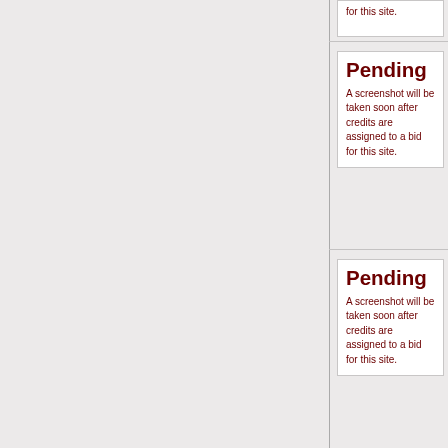[Figure (screenshot): Partial view of a web interface showing a left gray panel and a right column with 'Pending' placeholder cards. Each card shows bold dark red 'Pending' title and body text: 'A screenshot will be taken soon after credits are assigned to a bid for this site.']
for this site.
Pending
A screenshot will be taken soon after credits are assigned to a bid for this site.
Pending
A screenshot will be taken soon after credits are assigned to a bid for this site.
Pending
A screenshot will be taken soon after credits are assigned to a bid for this site.
Pending